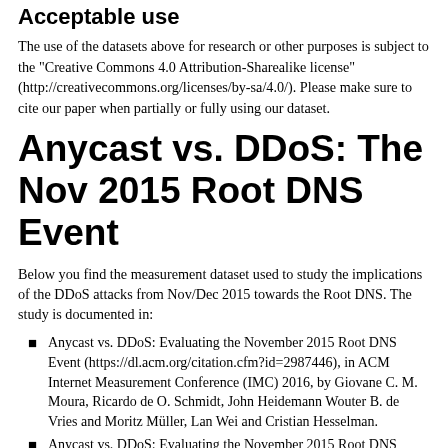Acceptable use
The use of the datasets above for research or other purposes is subject to the "Creative Commons 4.0 Attribution-Sharealike license" (http://creativecommons.org/licenses/by-sa/4.0/). Please make sure to cite our paper when partially or fully using our dataset.
Anycast vs. DDoS: The Nov 2015 Root DNS Event
Below you find the measurement dataset used to study the implications of the DDoS attacks from Nov/Dec 2015 towards the Root DNS. The study is documented in:
Anycast vs. DDoS: Evaluating the November 2015 Root DNS Event (https://dl.acm.org/citation.cfm?id=2987446), in ACM Internet Measurement Conference (IMC) 2016, by Giovane C. M. Moura, Ricardo de O. Schmidt, John Heidemann Wouter B. de Vries and Moritz Müller, Lan Wei and Cristian Hesselman.
Anycast vs. DDoS: Evaluating the November 2015 Root DNS Event (http://wwwhome.cs.utwente.nl/~schmidtr/docs/ISI-TR-2016-709.pdf), Technical Report ISI-TR-2016-709,